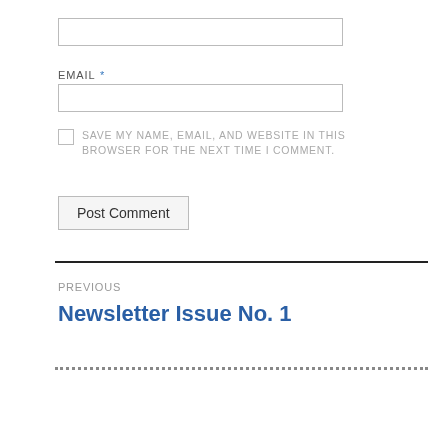[Figure (other): Text input field (empty, for name or website)]
EMAIL *
[Figure (other): Text input field (empty, for email)]
SAVE MY NAME, EMAIL, AND WEBSITE IN THIS BROWSER FOR THE NEXT TIME I COMMENT.
[Figure (other): Post Comment button]
PREVIOUS
Newsletter Issue No. 1